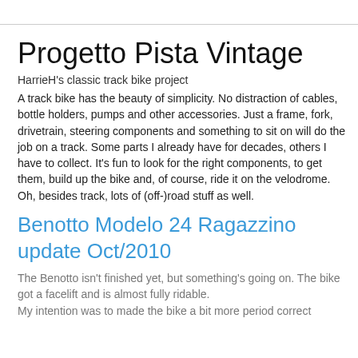Progetto Pista Vintage
HarrieH's classic track bike project
A track bike has the beauty of simplicity. No distraction of cables, bottle holders, pumps and other accessories. Just a frame, fork, drivetrain, steering components and something to sit on will do the job on a track. Some parts I already have for decades, others I have to collect. It's fun to look for the right components, to get them, build up the bike and, of course, ride it on the velodrome.
Oh, besides track, lots of (off-)road stuff as well.
Benotto Modelo 24 Ragazzino update Oct/2010
The Benotto isn't finished yet, but something's going on. The bike got a facelift and is almost fully ridable.
My intention was to made the bike a bit more period correct